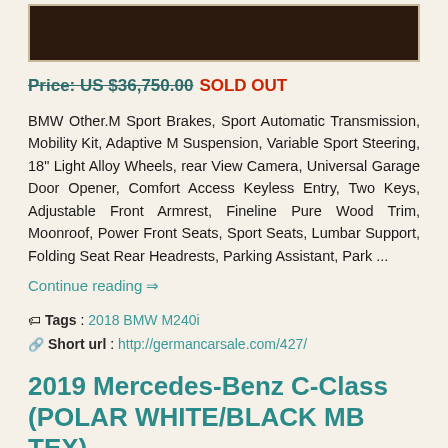[Figure (photo): Dark brown/black image at top of page, partially cropped]
Price: US $36,750.00 SOLD OUT
BMW Other.M Sport Brakes, Sport Automatic Transmission, Mobility Kit, Adaptive M Suspension, Variable Sport Steering, 18" Light Alloy Wheels, rear View Camera, Universal Garage Door Opener, Comfort Access Keyless Entry, Two Keys, Adjustable Front Armrest, Fineline Pure Wood Trim, Moonroof, Power Front Seats, Sport Seats, Lumbar Support, Folding Seat Rear Headrests, Parking Assistant, Park ...
Continue reading ⇒
Tags : 2018 BMW M240i
Short url : http://germancarsale.com/427/
2019 Mercedes-Benz C-Class (POLAR WHITE/BLACK MB TEX)